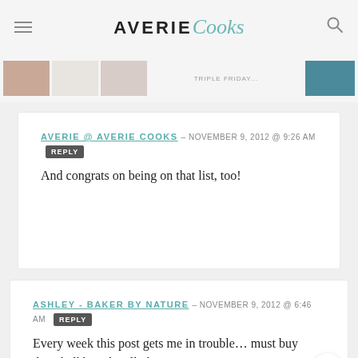AVERIE Cooks
AVERIE @ AVERIE COOKS – NOVEMBER 9, 2012 @ 9:26 AM  REPLY
And congrats on being on that list, too!
ASHLEY - BAKER BY NATURE – NOVEMBER 9, 2012 @ 6:46 AM  REPLY
Every week this post gets me in trouble… must buy that chalkboard wall planter!!!